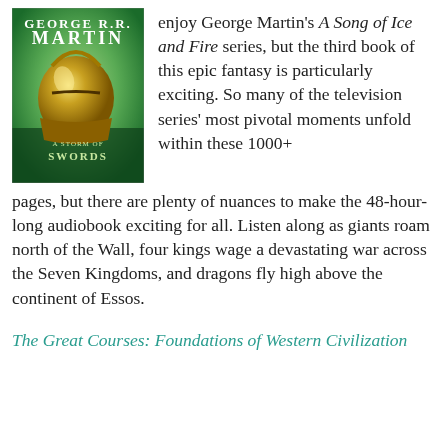[Figure (photo): Book cover of 'A Storm of Swords' by George R.R. Martin, showing a golden helmet on a green background]
enjoy George Martin's A Song of Ice and Fire series, but the third book of this epic fantasy is particularly exciting. So many of the television series' most pivotal moments unfold within these 1000+ pages, but there are plenty of nuances to make the 48-hour-long audiobook exciting for all. Listen along as giants roam north of the Wall, four kings wage a devastating war across the Seven Kingdoms, and dragons fly high above the continent of Essos.
The Great Courses: Foundations of Western Civilization